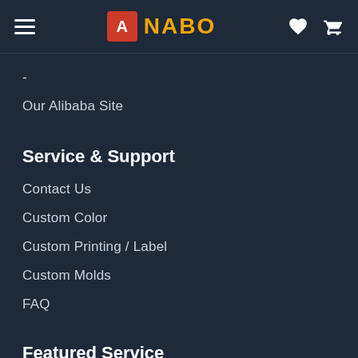NABO
Our Alibaba Site
Service & Support
Contact Us
Custom Color
Custom Printing / Label
Custom Molds
FAQ
Featured Service
Request Free Samples
Request The Best Quote